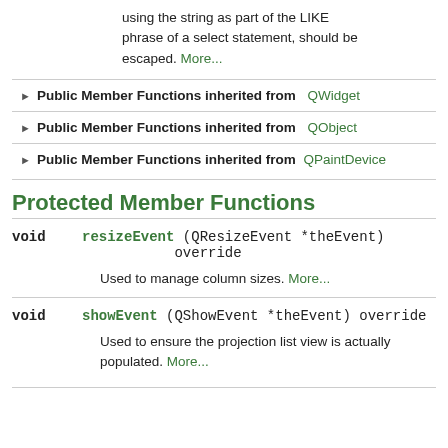using the string as part of the LIKE phrase of a select statement, should be escaped. More...
▶ Public Member Functions inherited from QWidget
▶ Public Member Functions inherited from QObject
▶ Public Member Functions inherited from QPaintDevice
Protected Member Functions
void resizeEvent (QResizeEvent *theEvent) override
Used to manage column sizes. More...
void showEvent (QShowEvent *theEvent) override
Used to ensure the projection list view is actually populated. More...